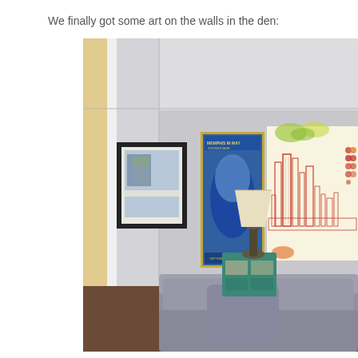We finally got some art on the walls in the den:
[Figure (photo): Interior photo of a den/living room showing walls decorated with framed art. On the left wall is a framed print with a black frame. On the back wall are two large artworks: a vertical blue poster (Memphis in May) and a large horizontal cityscape drawing in orange/red lines on cream background with colorful dot accents. In the foreground is a gray sofa, and in the corner is a teal/turquoise side table with a lamp on top.]